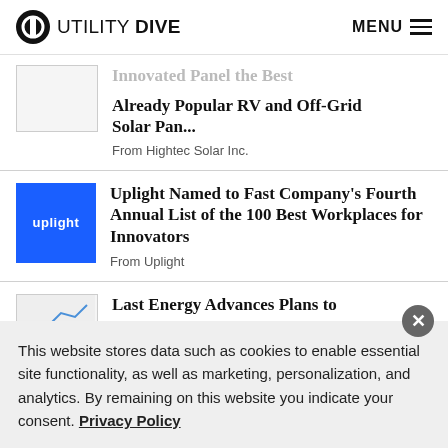UTILITY DIVE  MENU
Already Popular RV and Off-Grid Solar Pan...
From Hightec Solar Inc.
Uplight Named to Fast Company's Fourth Annual List of the 100 Best Workplaces for Innovators
From Uplight
Last Energy Advances Plans to
This website stores data such as cookies to enable essential site functionality, as well as marketing, personalization, and analytics. By remaining on this website you indicate your consent. Privacy Policy